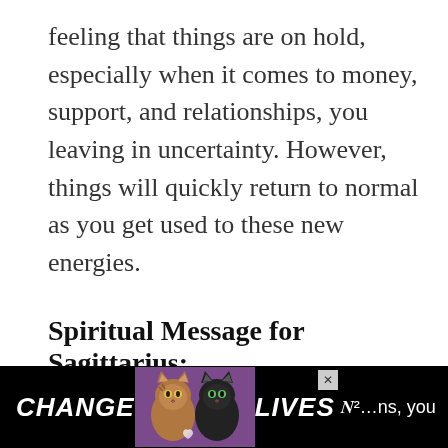feeling that things are on hold, especially when it comes to money, support, and relationships, you leaving in uncertainty. However, things will quickly return to normal as you get used to these new energies.
Spiritual Message for Sagittarius:
Sagittarius, with the Sun in
[Figure (photo): Advertisement banner with black background showing two cats (one tabby, one black), text 'CHANGE LIVES' in white bold italic letters, and a close button (x)]